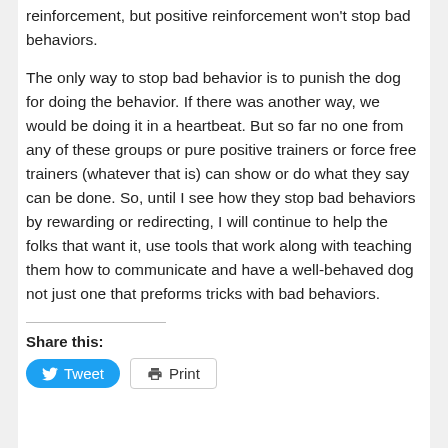reinforcement, but positive reinforcement won't stop bad behaviors.
The only way to stop bad behavior is to punish the dog for doing the behavior. If there was another way, we would be doing it in a heartbeat. But so far no one from any of these groups or pure positive trainers or force free trainers (whatever that is) can show or do what they say can be done. So, until I see how they stop bad behaviors by rewarding or redirecting, I will continue to help the folks that want it, use tools that work along with teaching them how to communicate and have a well-behaved dog not just one that preforms tricks with bad behaviors.
Share this: